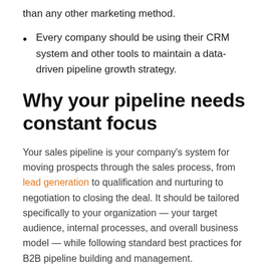than any other marketing method.
Every company should be using their CRM system and other tools to maintain a data-driven pipeline growth strategy.
Why your pipeline needs constant focus
Your sales pipeline is your company's system for moving prospects through the sales process, from lead generation to qualification and nurturing to negotiation to closing the deal. It should be tailored specifically to your organization — your target audience, internal processes, and overall business model — while following standard best practices for B2B pipeline building and management.
It's important to note that your sales pipeline is different